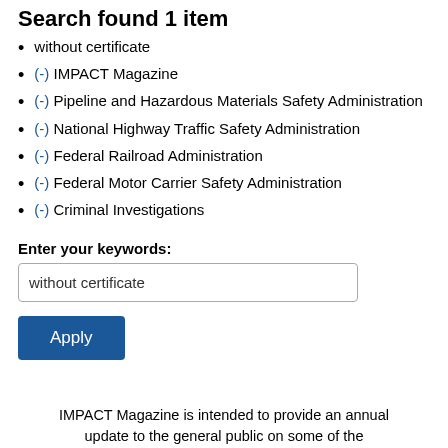Search found 1 item
without certificate
(-) IMPACT Magazine
(-) Pipeline and Hazardous Materials Safety Administration
(-) National Highway Traffic Safety Administration
(-) Federal Railroad Administration
(-) Federal Motor Carrier Safety Administration
(-) Criminal Investigations
Enter your keywords:
without certificate
Apply
IMPACT Magazine is intended to provide an annual update to the general public on some of the